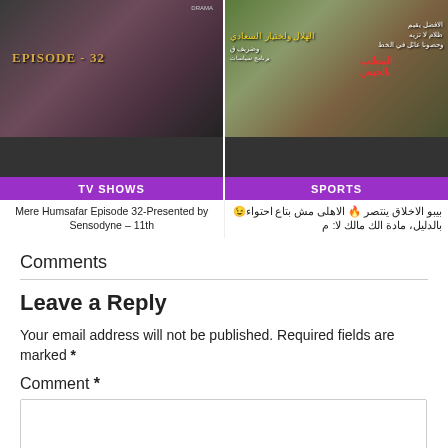[Figure (screenshot): TV show thumbnail with EPISODE-32 text overlay on dark background]
[Figure (screenshot): Sports show thumbnail with Arabic text overlays]
Mere Humsafar Episode 32-Presented by Sensodyne – 11th
بيبو الاخلاق ينتصر 🔥 الاهلى مش بتاع احتواء😉بالدليل، مادة الك مالك لا: م
Comments
Leave a Reply
Your email address will not be published. Required fields are marked *
Comment *